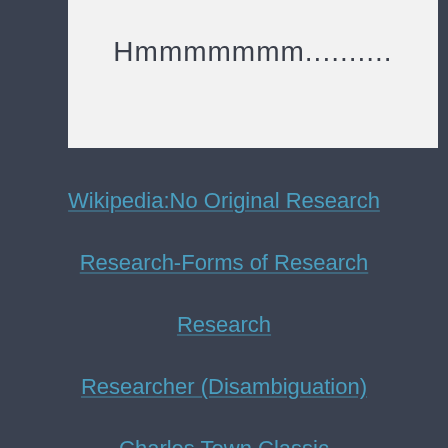Hmmmmmmm..........
Wikipedia:No Original Research
Research-Forms of Research
Research
Researcher (Disambiguation)
Charles Town Classic
Charles Town, West Virginia